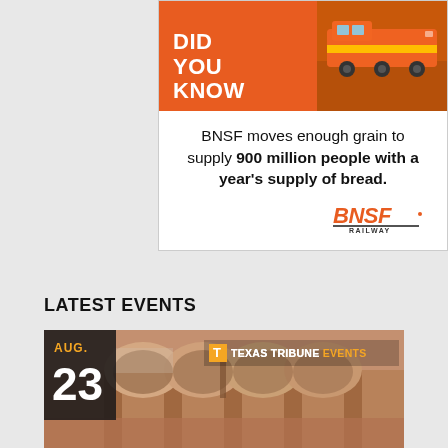[Figure (illustration): BNSF Railway advertisement. Top portion has orange background with white text 'DID YOU KNOW?' and a large question mark, plus a photo of an orange BNSF locomotive. Below on white background: 'BNSF moves enough grain to supply 900 million people with a year’s supply of bread.' with BNSF Railway logo at bottom right.]
LATEST EVENTS
[Figure (photo): Event photo showing arched brick colonnade/arcade architecture, warm terracotta tones. Overlaid with a dark badge showing 'AUG. 23' and a Texas Tribune Events badge in the top right.]